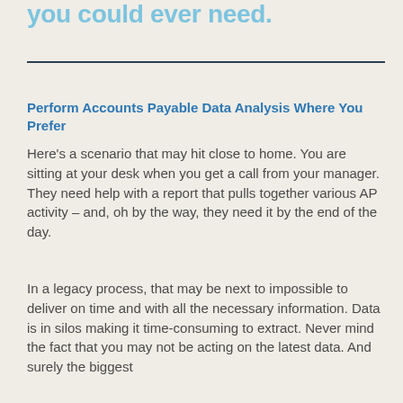you could ever need.
Perform Accounts Payable Data Analysis Where You Prefer
Here's a scenario that may hit close to home. You are sitting at your desk when you get a call from your manager. They need help with a report that pulls together various AP activity – and, oh by the way, they need it by the end of the day.
In a legacy process, that may be next to impossible to deliver on time and with all the necessary information. Data is in silos making it time-consuming to extract. Never mind the fact that you may not be acting on the latest data. And surely the biggest